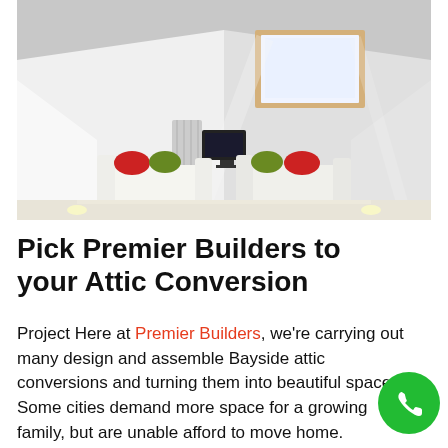[Figure (photo): Interior photo of a converted attic loft space with white sloped ceilings, a large skylight window with wooden frame, two white low sofas with red and green cushions, and a flat-screen TV in the center on a light wooden floor.]
Pick Premier Builders to your Attic Conversion
Project Here at Premier Builders, we're carrying out many design and assemble Bayside attic conversions and turning them into beautiful spaces. Some cities demand more space for a growing family, but are unable afford to move home.